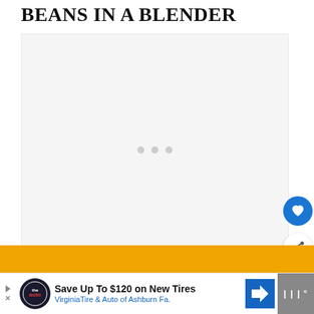BEANS IN A BLENDER
[Figure (photo): Large image area with loading placeholder (three grey dots on light grey background)]
[Figure (infographic): Heart/favorite button (blue circle with white heart icon)]
[Figure (infographic): Share button (white circle with share icon)]
WHAT'S NEXT → Can You Buy Pimentos In ...
[Figure (screenshot): Ad banner: Save Up To $120 on New Tires - VirginiaTire & Auto of Ashburn Fa.]